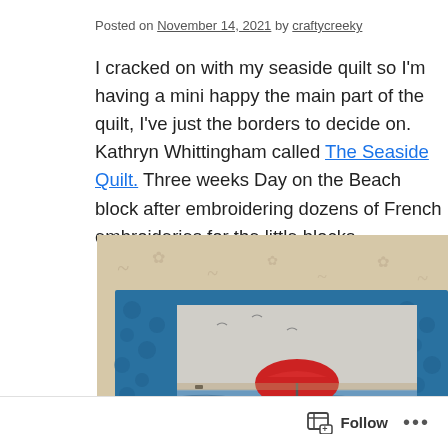Posted on November 14, 2021 by craftycreeky
I cracked on with my seaside quilt so I'm having a mini happy the main part of the quilt, I've just the borders to decide on. Kathryn Whittingham called The Seaside Quilt. Three weeks Day on the Beach block after embroidering dozens of French embroideries for the little blocks...
[Figure (photo): A quilt block displayed on a beige patterned background. The quilt features a red umbrella on a beach/seaside scene with blue fabric border surrounding a white/grey center panel showing the beach scene.]
Follow ...